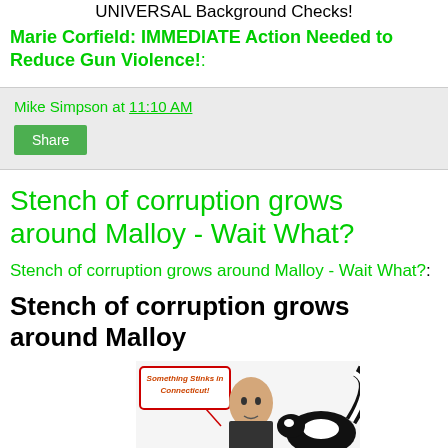UNIVERSAL Background Checks!
Marie Corfield: IMMEDIATE Action Needed to Reduce Gun Violence!:
Mike Simpson at 11:10 AM
Share
Stench of corruption grows around Malloy - Wait What?
Stench of corruption grows around Malloy - Wait What?:
Stench of corruption grows around Malloy
[Figure (illustration): Illustration showing a man's face with a speech bubble saying 'Something Stinks in Connecticut!' next to a skunk image]